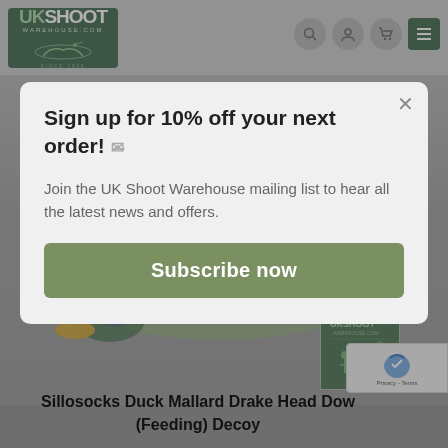[Figure (screenshot): UK Shoot Warehouse website screenshot with navigation header, duck decoy product image, and email signup modal overlay. The modal contains a 10% off offer, descriptive text, and a Subscribe now button.]
Sign up for 10% off your next order!
Join the UK Shoot Warehouse mailing list to hear all the latest news and offers.
Subscribe now
Sillosocks Duck Mallard Drake Head Down (Feeding) Decoy